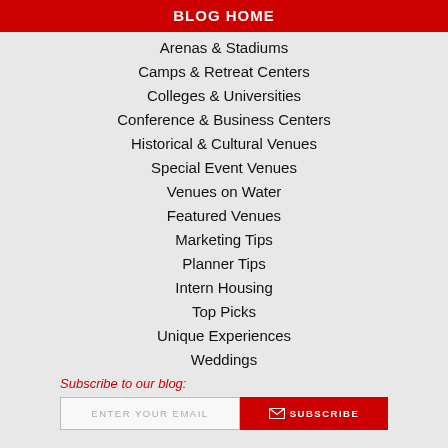BLOG HOME
Arenas & Stadiums
Camps & Retreat Centers
Colleges & Universities
Conference & Business Centers
Historical & Cultural Venues
Special Event Venues
Venues on Water
Featured Venues
Marketing Tips
Planner Tips
Intern Housing
Top Picks
Unique Experiences
Weddings
Subscribe to our blog:
ENTER YOUR EMAIL   SUBSCRIBE